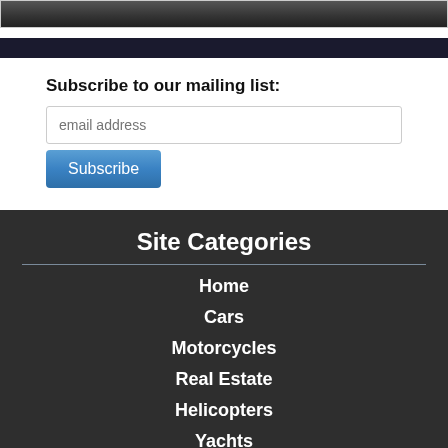[Figure (photo): Top strip showing a dark blurred road or pavement photo]
Subscribe to our mailing list:
email address
Subscribe
Site Categories
Home
Cars
Motorcycles
Real Estate
Helicopters
Yachts
Jets